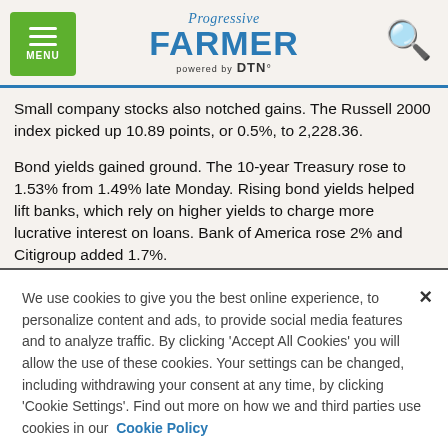Progressive Farmer powered by DTN
Small company stocks also notched gains. The Russell 2000 index picked up 10.89 points, or 0.5%, to 2,228.36.
Bond yields gained ground. The 10-year Treasury rose to 1.53% from 1.49% late Monday. Rising bond yields helped lift banks, which rely on higher yields to charge more lucrative interest on loans. Bank of America rose 2% and Citigroup added 1.7%.
Energy prices continued rising. U.S. oil rose 1.7% to $78.93 per
We use cookies to give you the best online experience, to personalize content and ads, to provide social media features and to analyze traffic. By clicking 'Accept All Cookies' you will allow the use of these cookies. Your settings can be changed, including withdrawing your consent at any time, by clicking 'Cookie Settings'. Find out more on how we and third parties use cookies in our Cookie Policy
Cookies Settings
Accept All Cookies